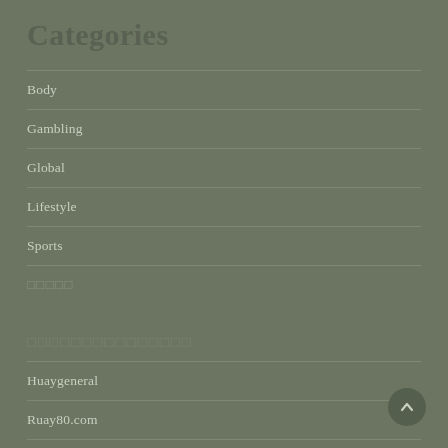Categories
Body
Gambling
Global
Lifestyle
Sports
□□□□□
□□□□□□□□□□□□□□□
Huaygeneral
Ruay80.com
Lottosport.mobi